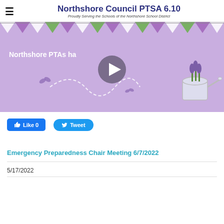Northshore Council PTSA 6.10 — Proudly Serving the Schools of the Northshore School District
[Figure (screenshot): Video thumbnail with lavender background showing 'Northshore PTAs ha' text, a play button overlay, decorative butterflies, dashed swirl path, and a watering can with purple flowers. Bunting flags at the top.]
Like 0   Tweet
Emergency Preparedness Chair Meeting 6/7/2022
5/17/2022